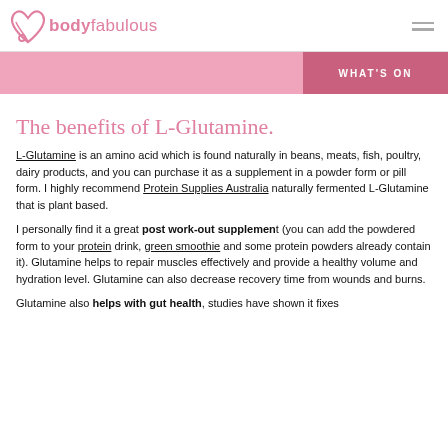bodyfabulous
WHAT'S ON
The benefits of L-Glutamine.
L-Glutamine is an amino acid which is found naturally in beans, meats, fish, poultry, dairy products, and you can purchase it as a supplement in a powder form or pill form. I highly recommend Protein Supplies Australia naturally fermented L-Glutamine that is plant based.
I personally find it a great post work-out supplement (you can add the powdered form to your protein drink, green smoothie and some protein powders already contain it). Glutamine helps to repair muscles effectively and provide a healthy volume and hydration level. Glutamine can also decrease recovery time from wounds and burns.
Glutamine also helps with gut health, studies have shown it fixes